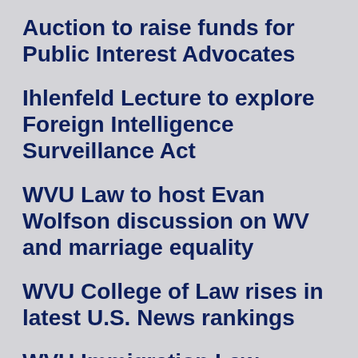Auction to raise funds for Public Interest Advocates
Ihlenfeld Lecture to explore Foreign Intelligence Surveillance Act
WVU Law to host Evan Wolfson discussion on WV and marriage equality
WVU College of Law rises in latest U.S. News rankings
WVU Immigration Law Students Win Deportation Case